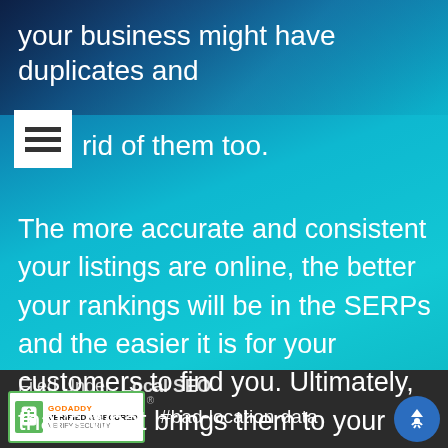your business might have duplicates and rid of them too.
The more accurate and consistent your listings are online, the better your rankings will be in the SERPs and the easier it is for your customers to find you. Ultimately, that’s what brings them to your door. The rest, is up to you.
Filed Under: Local SEO  #bad-location-data